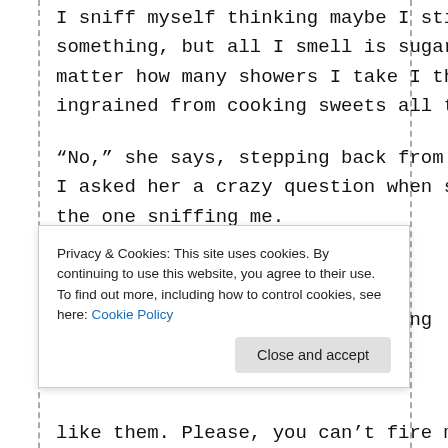I sniff myself thinking maybe I stink or something, but all I smell is sugar. No matter how many showers I take I think it's ingrained from cooking sweets all the time.
“No,” she says, stepping back from me like I asked her a crazy question when she’s the one sniffing me.
“You like working here, Gwen?”
“I love it! You’re not going to fire me
Privacy & Cookies: This site uses cookies. By continuing to use this website, you agree to their use.
To find out more, including how to control cookies, see here: Cookie Policy
like them. Please, you can’t fire me. No